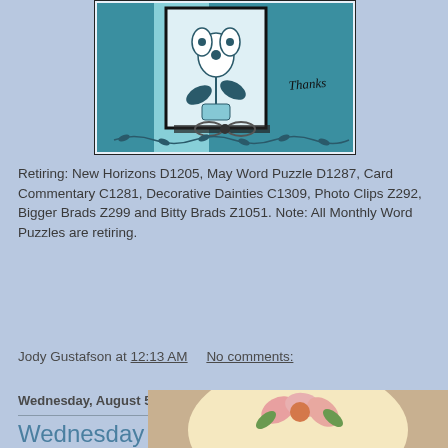[Figure (photo): A handmade card on a teal/blue background featuring a floral design in a black-framed inset with a gingham ribbon bow and a 'Thanks' script on the right side.]
Retiring: New Horizons D1205, May Word Puzzle D1287, Card Commentary C1281, Decorative Dainties C1309, Photo Clips Z292, Bigger Brads Z299 and Bitty Brads Z1051. Note: All Monthly Word Puzzles are retiring.
Jody Gustafson at 12:13 AM     No comments:
Wednesday, August 5, 2009
Wednesday Wishes Meets Color Me Monday
[Figure (photo): A partial view of a second handmade card with floral design on a cream background, partially cut off at the bottom of the page.]